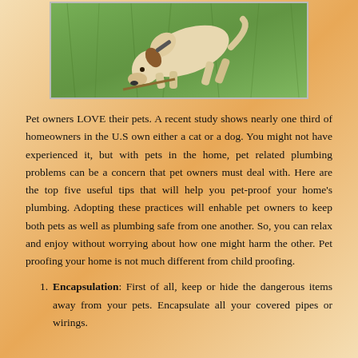[Figure (photo): A white/cream colored dog with a collar, sniffing or eating something on green grass, photographed from above]
Pet owners LOVE their pets. A recent study shows nearly one third of homeowners in the U.S own either a cat or a dog. You might not have experienced it, but with pets in the home, pet related plumbing problems can be a concern that pet owners must deal with. Here are the top five useful tips that will help you pet-proof your home's plumbing. Adopting these practices will enhable pet owners to keep both pets as well as plumbing safe from one another. So, you can relax and enjoy without worrying about how one might harm the other. Pet proofing your home is not much different from child proofing.
Encapsulation: First of all, keep or hide the dangerous items away from your pets. Encapsulate all your covered pipes or wirings.